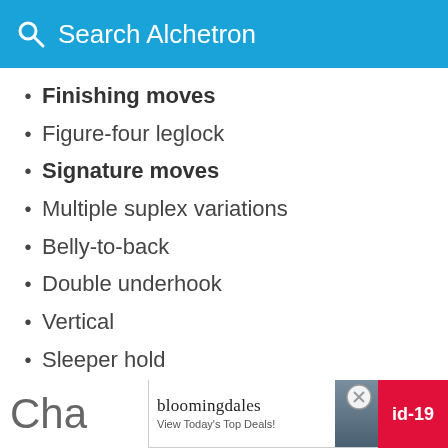Search Alchetron
Finishing moves
Figure-four leglock
Signature moves
Multiple suplex variations
Belly-to-back
Double underhook
Vertical
Sleeper hold
Entrance themes
"Real American" by Rick Derringer (WWF; 1999; while teaming with Pat Patterson)
Cha
[Figure (screenshot): Bloomingdale's advertisement banner: 'View Today's Top Deals!' with SHOP NOW button and id-19 badge]